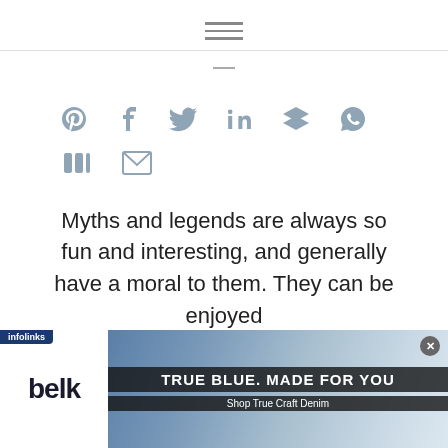hamburger menu icon
[Figure (illustration): Horizontal divider line]
[Figure (infographic): Row of social sharing icons: Pinterest, Facebook, Twitter, LinkedIn, Buffer/layers, WhatsApp; second row: Tumblr/medium, Email envelope]
Myths and legends are always so fun and interesting, and generally have a moral to them. They can be enjoyed
[Figure (illustration): Advertisement banner: belk logo on left, denim background with text TRUE BLUE. MADE FOR YOU / Shop True Craft Denim on right, infolinks badge top-left, close X button top-right]